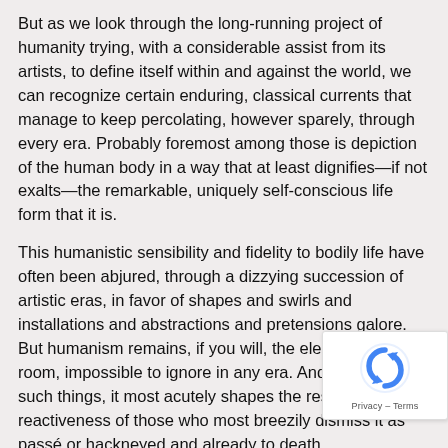But as we look through the long-running project of humanity trying, with a considerable assist from its artists, to define itself within and against the world, we can recognize certain enduring, classical currents that manage to keep percolating, however sparely, through every era. Probably foremost among those is depiction of the human body in a way that at least dignifies—if not exalts—the remarkable, uniquely self-conscious life form that it is.
This humanistic sensibility and fidelity to bodily life have often been abjured, through a dizzying succession of artistic eras, in favor of shapes and swirls and installations and abstractions and pretensions galore. But humanism remains, if you will, the elephant in the room, impossible to ignore in any era. And, in the way of such things, it most acutely shapes the responses and reactiveness of those who most breezily dismiss it as passé or hackneyed and already to death.
***
[Figure (other): reCAPTCHA widget with blue circular arrow logo and Privacy - Terms text]